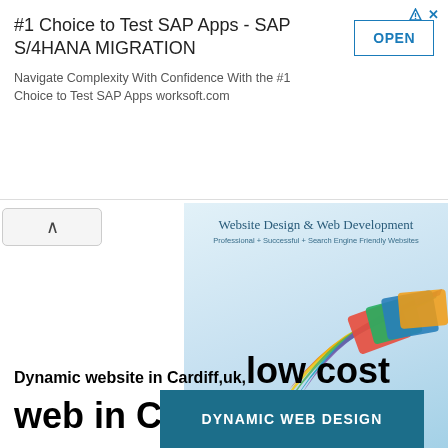[Figure (screenshot): Advertisement banner: '#1 Choice to Test SAP Apps - SAP S/4HANA MIGRATION' with OPEN button, navigation arrow, and close X icon]
[Figure (screenshot): Website Design & Web Development banner image showing colorful ribbon/swirl of website screenshots on light blue background]
Dynamic website in Cardiff,uk,low cost web in Cardiff,uk
[Figure (screenshot): Dark teal button with white text reading DYNAMIC WEB DESIGN]